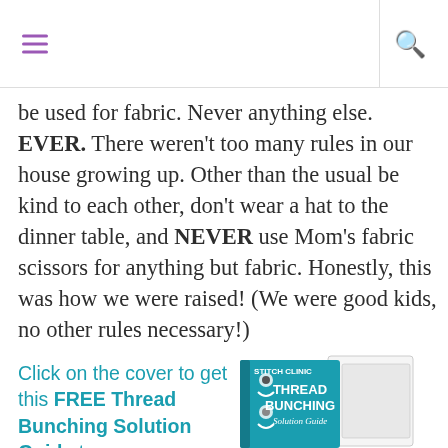≡  🔍
be used for fabric. Never anything else. EVER. There weren't too many rules in our house growing up. Other than the usual be kind to each other, don't wear a hat to the dinner table, and NEVER use Mom's fabric scissors for anything but fabric. Honestly, this was how we were raised! (We were good kids, no other rules necessary!)
Click on the cover to get this FREE Thread Bunching Solution Guide to
[Figure (illustration): Book cover of 'Thread Bunching Solution Guide' with 'Stitch Clinic' branding, teal and white colors, showing an open book leaning against another book]